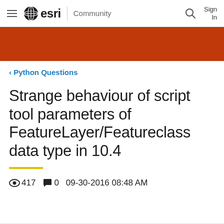esri Community — Sign In
[Figure (other): Orange decorative banner]
‹ Python Questions
Strange behaviour of script tool parameters of FeatureLayer/Featureclass data type in 10.4
417 views  0 comments  09-30-2016 08:48 AM